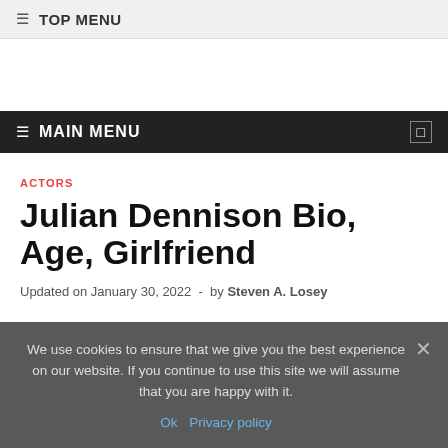≡ TOP MENU
≡ MAIN MENU
ACTORS
Julian Dennison Bio, Age, Girlfriend
Updated on January 30, 2022 - by Steven A. Losey
We use cookies to ensure that we give you the best experience on our website. If you continue to use this site we will assume that you are happy with it.
Ok  Privacy policy